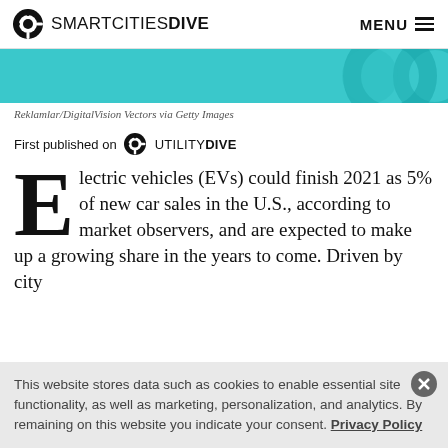SMARTCITIESDIVE  MENU
[Figure (illustration): Teal/cyan colored image strip with partial circular graphic elements visible at right edge]
Reklamlar/DigitalVision Vectors via Getty Images
First published on UTILITY DIVE
Electric vehicles (EVs) could finish 2021 as 5% of new car sales in the U.S., according to market observers, and are expected to make up a growing share in the years to come. Driven by city
This website stores data such as cookies to enable essential site functionality, as well as marketing, personalization, and analytics. By remaining on this website you indicate your consent. Privacy Policy